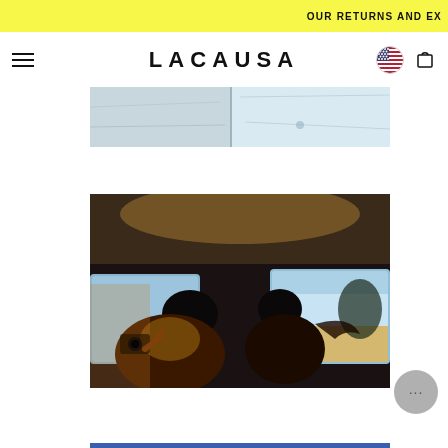OUR RETURNS AND EX
LACAUSA
[Figure (photo): Close-up of white/light blue fabric, clothing detail with vertical dividing line]
[Figure (photo): Interior of a vehicle, two people viewed from behind, one taking a photo out the window, warm golden light, road trip scene]